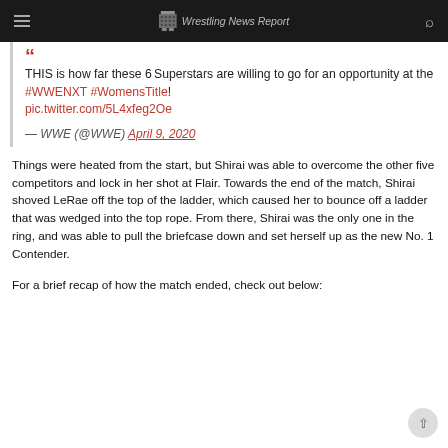Wrestling News Report
THIS is how far these 6 Superstars are willing to go for an opportunity at the #WWENXT #WomensTitle! pic.twitter.com/5L4xfeg2Oe
— WWE (@WWE) April 9, 2020
Things were heated from the start, but Shirai was able to overcome the other five competitors and lock in her shot at Flair. Towards the end of the match, Shirai shoved LeRae off the top of the ladder, which caused her to bounce off a ladder that was wedged into the top rope. From there, Shirai was the only one in the ring, and was able to pull the briefcase down and set herself up as the new No. 1 Contender.
For a brief recap of how the match ended, check out below: